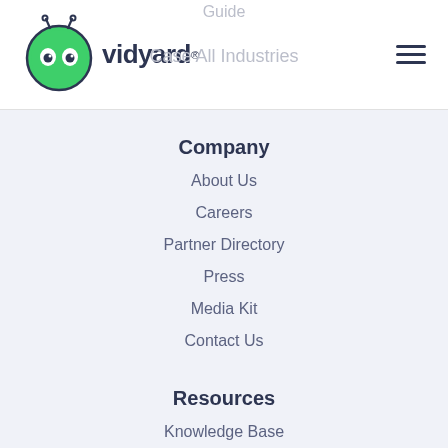Vidyard logo and navigation header
Company
About Us
Careers
Partner Directory
Press
Media Kit
Contact Us
Resources
Knowledge Base
Webinars and Events
Content Library
Video Inspiration